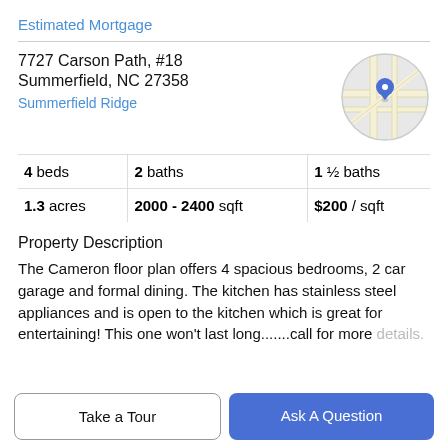Estimated Mortgage
7727 Carson Path, #18
Summerfield, NC 27358
Summerfield Ridge
[Figure (map): Circular map thumbnail showing street map with blue location pin marker]
|  |  |  |
| --- | --- | --- |
| 4 beds | 2 baths | 1 ½ baths |
| 1.3 acres | 2000 - 2400 sqft | $200 / sqft |
Property Description
The Cameron floor plan offers 4 spacious bedrooms, 2 car garage and formal dining. The kitchen has stainless steel appliances and is open to the kitchen which is great for entertaining! This one won't last long.......call for more details.
Take a Tour
Ask A Question